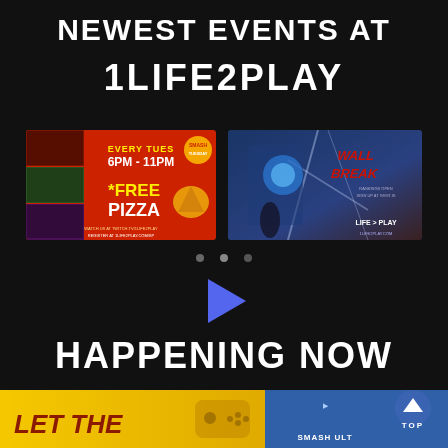NEWEST EVENTS AT
1LIFE2PLAY
[Figure (screenshot): Red banner thumbnail for Smash Tuesday event: EVERY TUES 6PM-11PM *FREE PIZZA, with Mario characters]
[Figure (screenshot): Dark action game thumbnail titled WALL BREAK with anime fighter character, LIFE PLAY logo at bottom right]
[Figure (infographic): Blue play button triangle icon]
HAPPENING NOW
[Figure (screenshot): Bottom left yellow thumbnail showing LET THE text with game controller icon]
[Figure (screenshot): Bottom right blue thumbnail with SMASH ULTIMATE text and TOP navigation button]